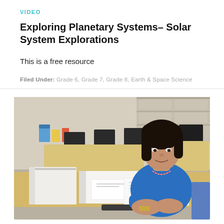VIDEO
Exploring Planetary Systems– Solar System Explorations
This is a free resource
Filed Under: Grade 6, Grade 7, Grade 8, Earth & Space Science
[Figure (photo): A female teacher with dark hair wearing a blue top and lanyard, sitting at a light wood student desk in a classroom, with open binders and papers in front of her. Other desks and chairs are visible in the background.]